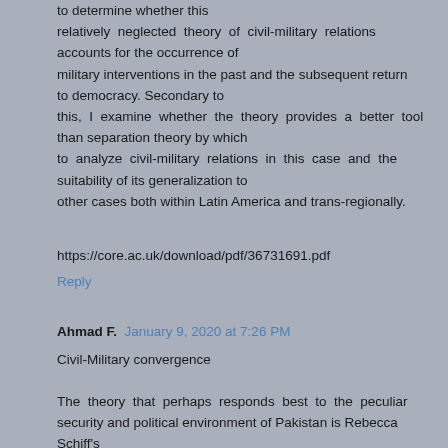to determine whether this relatively neglected theory of civil-military relations accounts for the occurrence of military interventions in the past and the subsequent return to democracy. Secondary to this, I examine whether the theory provides a better tool than separation theory by which to analyze civil-military relations in this case and the suitability of its generalization to other cases both within Latin America and trans-regionally.
https://core.ac.uk/download/pdf/36731691.pdf
Reply
Ahmad F. January 9, 2020 at 7:26 PM
Civil-Military convergence
The theory that perhaps responds best to the peculiar security and political environment of Pakistan is Rebecca Schiff's...